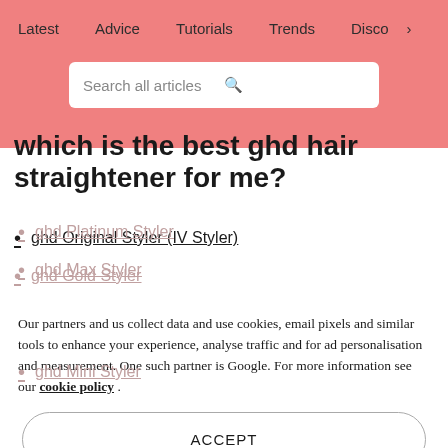Navigation bar with: Latest, Advice, Tutorials, Trends, Disco >
Search all articles
Which is the best ghd hair straightener for me?
ghd Original Styler (IV Styler)
ghd Gold Styler
ghd Platinum Styler
ghd Max Styler
ghd Mini Styler
Our partners and us collect data and use cookies, email pixels and similar tools to enhance your experience, analyse traffic and for ad personalisation and measurement. One such partner is Google. For more information see our cookie policy .
ACCEPT
6 of the best ghd hair straighteners